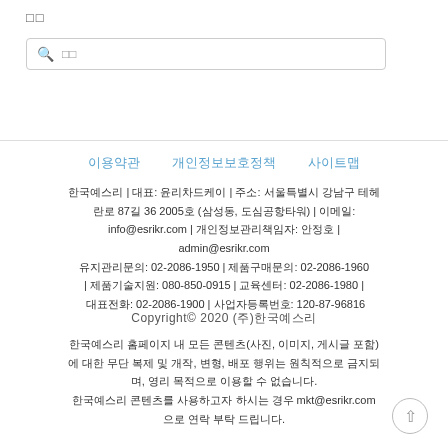□□
🔍 □□
이용약관    개인정보보호정책    사이트맵
한국예스리 | 대표: 윤리차드케이 | 주소: 서울특별시 강남구 테헤란로 87길 36 2005호 (삼성동, 도심공항타워) | 이메일: info@esrikr.com | 개인정보관리책임자: 안정호 | admin@esrikr.com
유지관리문의: 02-2086-1950 | 제품구매문의: 02-2086-1960 | 제품기술지원: 080-850-0915 | 교육센터: 02-2086-1980 | 대표전화: 02-2086-1900 | 사업자등록번호: 120-87-96816
Copyright© 2020 (주)한국예스리
한국예스리 홈페이지 내 모든 콘텐츠(사진, 이미지, 게시글 포함)에 대한 무단 복제 및 개작, 변형, 배포 행위는 원칙적으로 금지되며, 영리 목적으로 이용할 수 없습니다.
한국예스리 콘텐츠를 사용하고자 하시는 경우 mkt@esrikr.com 으로 연락 부탁 드립니다.